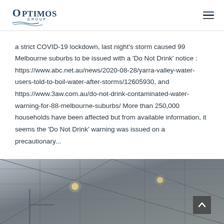Optimos Group
a strict COVID-19 lockdown, last night's storm caused 99 Melbourne suburbs to be issued with a 'Do Not Drink' notice : https://www.abc.net.au/news/2020-08-28/yarra-valley-water-users-told-to-boil-water-after-storms/12605930, and https://www.3aw.com.au/do-not-drink-contaminated-water-warning-for-88-melbourne-suburbs/ More than 250,000 households have been affected but from available information, it seems the 'Do Not Drink' warning was issued on a precautionary...
[Figure (photo): Interior of a large industrial warehouse or factory building showing steel roof trusses, structural beams, and overhead lighting fixtures.]